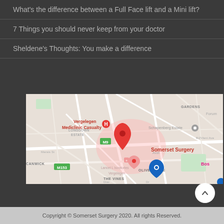What's the difference between a Full Face lift and a Mini lift?
7 Things you should never keep from your doctor
Sheldene's Thoughts: You make a difference
[Figure (map): Google Maps screenshot showing Somerset Surgery location near Vergelegen Mediclinic Casualty, Longdown Estate, Olive Grove and The Vines areas. Red pin marks Somerset Surgery. Blue pin nearby. M9 and M153 road markers visible.]
Copyright © Somerset Surgery 2020. All rights Reserved.